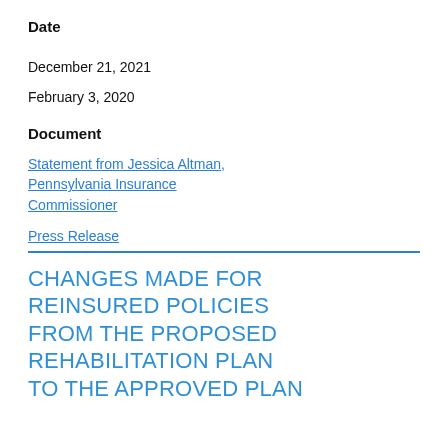Date
December 21, 2021
February 3, 2020
Document
Statement from Jessica Altman, Pennsylvania Insurance Commissioner
Press Release
CHANGES MADE FOR REINSURED POLICIES FROM THE PROPOSED REHABILITATION PLAN TO THE APPROVED PLAN